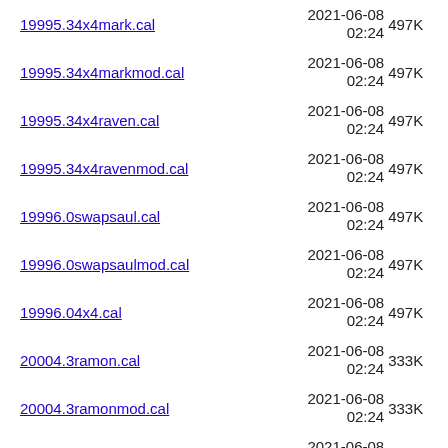19995.34x4mark.cal  2021-06-08 02:24  497K
19995.34x4markmod.cal  2021-06-08 02:24  497K
19995.34x4raven.cal  2021-06-08 02:24  497K
19995.34x4ravenmod.cal  2021-06-08 02:24  497K
19996.0swapsaul.cal  2021-06-08 02:24  497K
19996.0swapsaulmod.cal  2021-06-08 02:24  497K
19996.04x4.cal  2021-06-08 02:24  497K
20004.3ramon.cal  2021-06-08 02:24  333K
20004.3ramonmod.cal  2021-06-08 02:24  333K
20004.3s10raul.cal  2021-06-08 02:24  335K
20004.3s10raulmod.cal  2021-06-08 02:24  335K
2021-06-08 ...